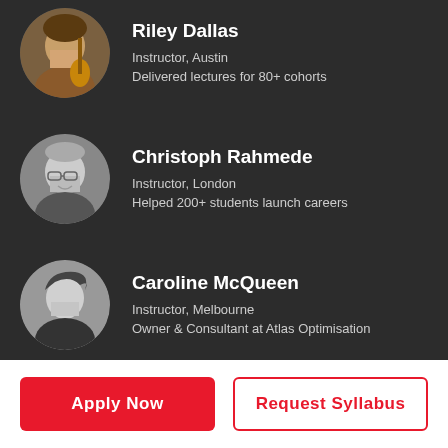[Figure (photo): Circular profile photo of Riley Dallas (partially cropped at top), color photo showing a person with guitar]
Riley Dallas
Instructor, Austin
Delivered lectures for 80+ cohorts
[Figure (photo): Circular black and white profile photo of Christoph Rahmede, a man with glasses smiling]
Christoph Rahmede
Instructor, London
Helped 200+ students launch careers
[Figure (photo): Circular black and white profile photo of Caroline McQueen, a woman with short hair]
Caroline McQueen
Instructor, Melbourne
Owner & Consultant at Atlas Optimisation
Apply Now
Request Syllabus